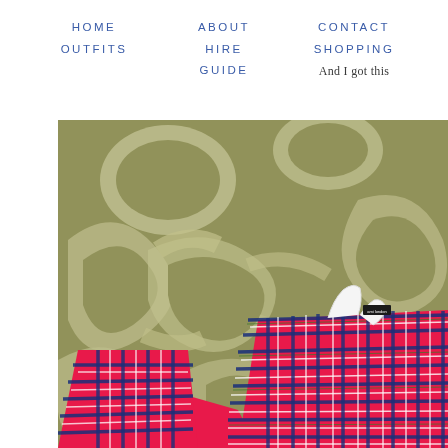HOME  OUTFITS  |  ABOUT  HIRE  GUIDE  |  CONTACT  SHOPPING  And I got this
[Figure (photo): A red/pink tartan plaid shirt laid flat on an olive green patterned rug with white/cream organic swirl pattern]